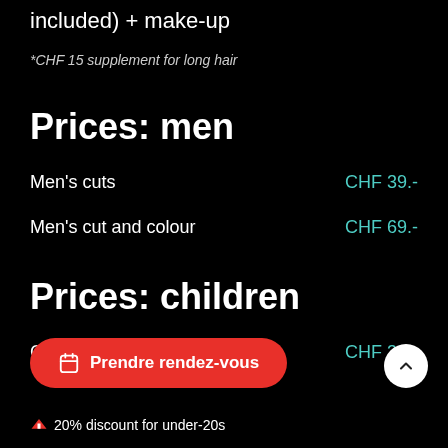included) + make-up
*CHF 15 supplement for long hair
Prices: men
Men's cuts — CHF 39.-
Men's cut and colour — CHF 69.-
Prices: children
Children's cut — CHF 30.-
Prendre rendez-vous
20% discount for under-20s